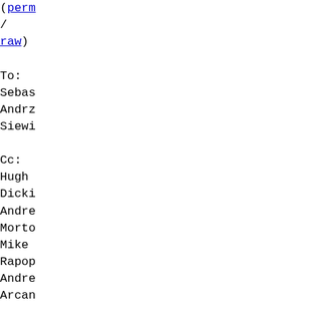( perm / raw ) To: Sebas Andrz Siewi Cc: Hugh Dicki Andre Morto Mike Rapop Andre Arcan linux mm, linux kerne Boris Petko Pavel Mache Dave Hanse